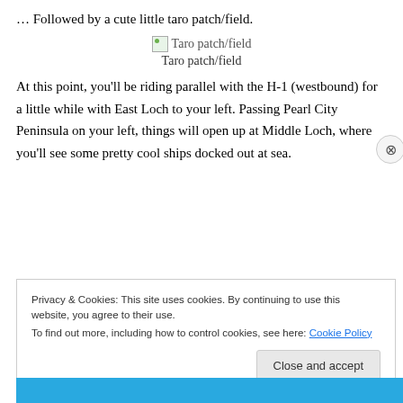… Followed by a cute little taro patch/field.
[Figure (photo): Broken image placeholder for Taro patch/field]
Taro patch/field
At this point, you'll be riding parallel with the H-1 (westbound) for a little while with East Loch to your left. Passing Pearl City Peninsula on your left, things will open up at Middle Loch, where you'll see some pretty cool ships docked out at sea.
Privacy & Cookies: This site uses cookies. By continuing to use this website, you agree to their use.
To find out more, including how to control cookies, see here: Cookie Policy
Close and accept